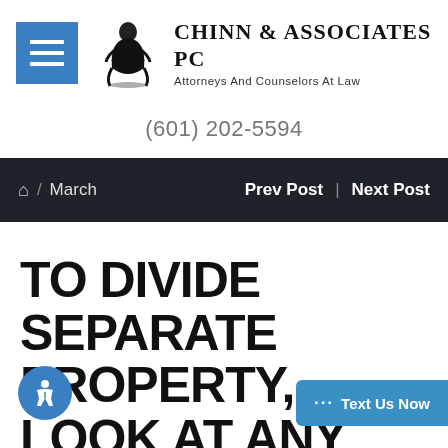[Figure (logo): Chinn & Associates PC law firm logo with hamburger menu button, decorative figure/scales illustration, firm name and tagline]
(601) 202-5594
Home / March   Prev Post | Next Post
TO DIVIDE SEPARATE PROPERTY, LOOK AT ANY INCREASE I